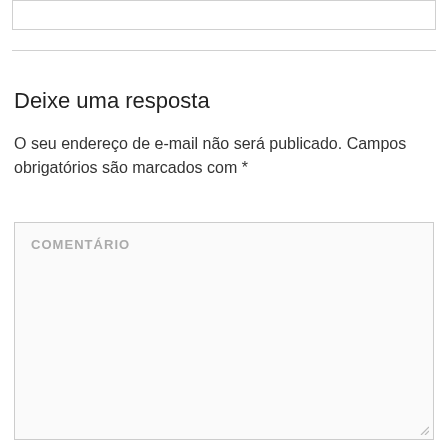Deixe uma resposta
O seu endereço de e-mail não será publicado. Campos obrigatórios são marcados com *
COMENTÁRIO